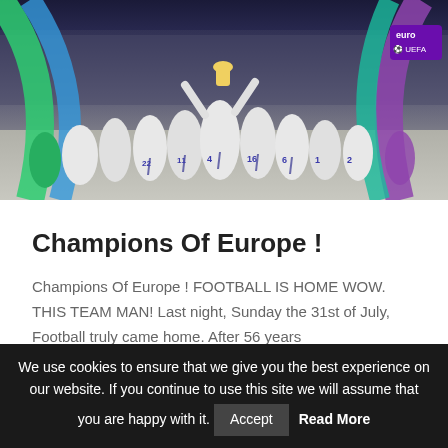[Figure (photo): England women's football team celebrating winning Euro championship, players in white kits holding trophy aloft with crowd and stadium arch in background]
Champions Of Europe !
Champions Of Europe ! FOOTBALL IS HOME WOW. THIS TEAM MAN! Last night, Sunday the 31st of July, Football truly came home. After 56 years
READ MORE »
We use cookies to ensure that we give you the best experience on our website. If you continue to use this site we will assume that you are happy with it. Accept Read More